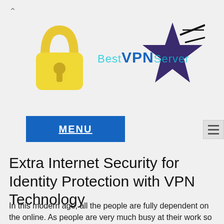[Figure (logo): Best VPN Server logo: yellow padlock icon on the left, stylized 'Best VPN Server' text in center, dark purple/black star shooting graphic on the right]
MENU
Extra Internet Security for Identity Protection with VPN Technology
In this modern age, all the people are fully dependent on the online. As people are very much busy at their work so they like to complete the necessary task from home or when they are on the go.